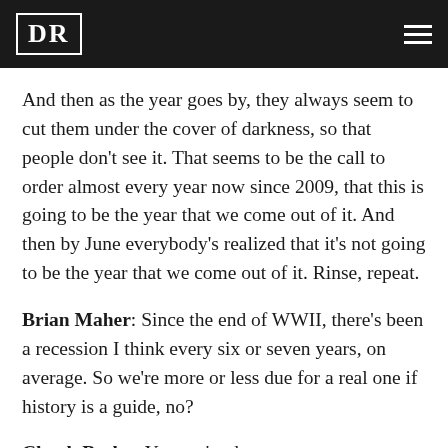DR
And then as the year goes by, they always seem to cut them under the cover of darkness, so that people don't see it. That seems to be the call to order almost every year now since 2009, that this is going to be the year that we come out of it. And then by June everybody's realized that it's not going to be the year that we come out of it. Rinse, repeat.
Brian Maher: Since the end of WWII, there's been a recession I think every six or seven years, on average. So we're more or less due for a real one if history is a guide, no?
Chuck Butler: Yes, we're due.